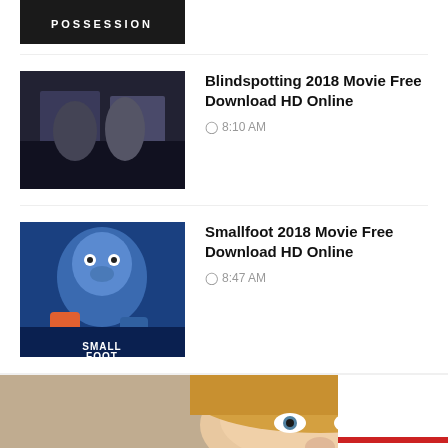[Figure (screenshot): Partial thumbnail of Possession movie poster, dark background with white text 'POSSESSION']
Blindspotting 2018 Movie Free Download HD Online
8:10 AM
[Figure (photo): Blindspotting 2018 movie thumbnail showing two people standing]
Smallfoot 2018 Movie Free Download HD Online
8:47 AM
[Figure (photo): Smallfoot 2018 animated movie thumbnail with blue furry creature]
[Figure (photo): Woman eating spaghetti, blonde hair, close-up photo]
It's Hard To Imagine Her As Anything Less Than A Joy
Brainberries
ADSKEEPER